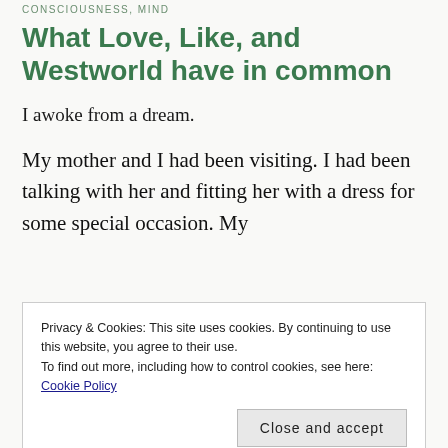CONSCIOUSNESS, MIND
What Love, Like, and Westworld have in common
I awoke from a dream.
My mother and I had been visiting. I had been talking with her and fitting her with a dress for some special occasion. My
Privacy & Cookies: This site uses cookies. By continuing to use this website, you agree to their use.
To find out more, including how to control cookies, see here: Cookie Policy
[Close and accept]
to the bedroom and she quickly made her way to